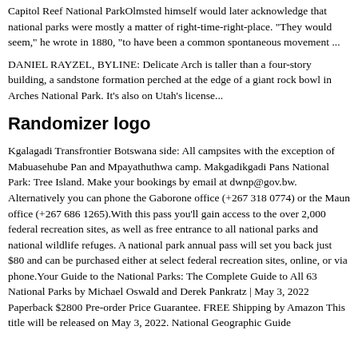Capitol Reef National ParkOlmsted himself would later acknowledge that national parks were mostly a matter of right-time-right-place. "They would seem," he wrote in 1880, "to have been a common spontaneous movement ...
DANIEL RAYZEL, BYLINE: Delicate Arch is taller than a four-story building, a sandstone formation perched at the edge of a giant rock bowl in Arches National Park. It's also on Utah's license...
Randomizer logo
Kgalagadi Transfrontier Botswana side: All campsites with the exception of Mabuasehube Pan and Mpayathuthwa camp. Makgadikgadi Pans National Park: Tree Island. Make your bookings by email at dwnp@gov.bw. Alternatively you can phone the Gaborone office (+267 318 0774) or the Maun office (+267 686 1265).With this pass you'll gain access to the over 2,000 federal recreation sites, as well as free entrance to all national parks and national wildlife refuges. A national park annual pass will set you back just $80 and can be purchased either at select federal recreation sites, online, or via phone.Your Guide to the National Parks: The Complete Guide to All 63 National Parks by Michael Oswald and Derek Pankratz | May 3, 2022 Paperback $2800 Pre-order Price Guarantee. FREE Shipping by Amazon This title will be released on May 3, 2022. National Geographic Guide